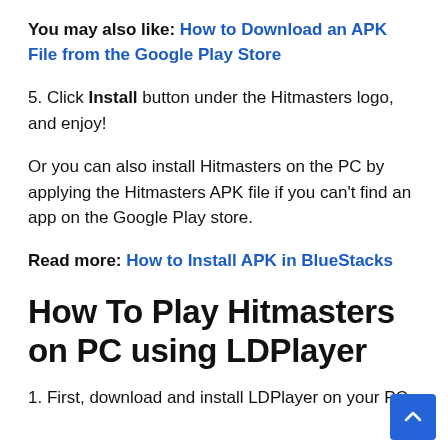You may also like: How to Download an APK File from the Google Play Store
5. Click Install button under the Hitmasters logo, and enjoy!
Or you can also install Hitmasters on the PC by applying the Hitmasters APK file if you can't find an app on the Google Play store.
Read more: How to Install APK in BlueStacks
How To Play Hitmasters on PC using LDPlayer
1. First, download and install LDPlayer on your PC.